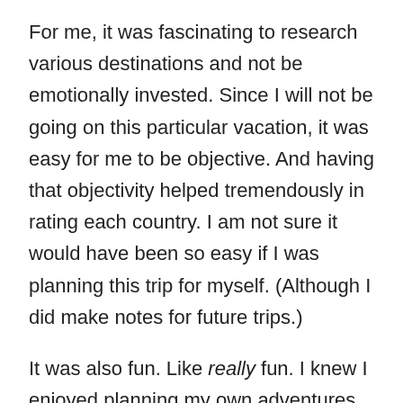For me, it was fascinating to research various destinations and not be emotionally invested. Since I will not be going on this particular vacation, it was easy for me to be objective. And having that objectivity helped tremendously in rating each country. I am not sure it would have been so easy if I was planning this trip for myself. (Although I did make notes for future trips.)
It was also fun. Like really fun. I knew I enjoyed planning my own adventures. But I had no idea I would enjoy planning someone else's adventure just as much. I guess the next best thing to actually traveling really is planning a trip—whether it's your own or not!
Speaking of which, do you want some help planning